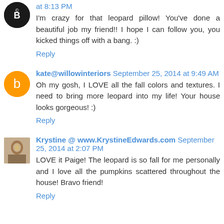at 8:13 PM
I'm crazy for that leopard pillow! You've done a beautiful job my friend!! I hope I can follow you, you kicked things off with a bang. :)
Reply
kate@willowinteriors September 25, 2014 at 9:49 AM
Oh my gosh, I LOVE all the fall colors and textures. I need to bring more leopard into my life! Your house looks gorgeous! :)
Reply
Krystine @ www.KrystineEdwards.com September 25, 2014 at 2:07 PM
LOVE it Paige! The leopard is so fall for me personally and I love all the pumpkins scattered throughout the house! Bravo friend!
Reply